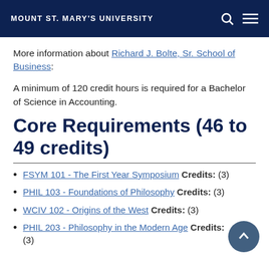MOUNT ST. MARY'S UNIVERSITY
More information about Richard J. Bolte, Sr. School of Business:
A minimum of 120 credit hours is required for a Bachelor of Science in Accounting.
Core Requirements (46 to 49 credits)
FSYM 101 - The First Year Symposium Credits: (3)
PHIL 103 - Foundations of Philosophy Credits: (3)
WCIV 102 - Origins of the West Credits: (3)
PHIL 203 - Philosophy in the Modern Age Credits: (3)